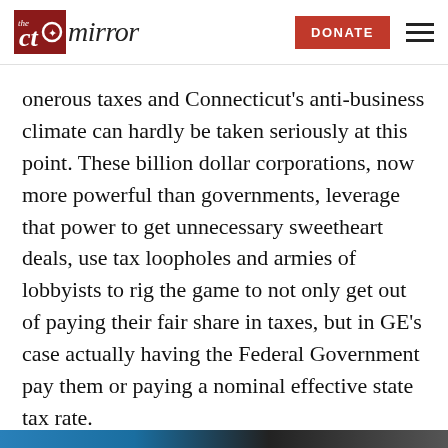CT Mirror | DONATE
onerous taxes and Connecticut’s anti-business climate can hardly be taken seriously at this point. These billion dollar corporations, now more powerful than governments, leverage that power to get unnecessary sweetheart deals, use tax loopholes and armies of lobbyists to rig the game to not only get out of paying their fair share in taxes, but in GE’s case actually having the Federal Government pay them or paying a nominal effective state tax rate.